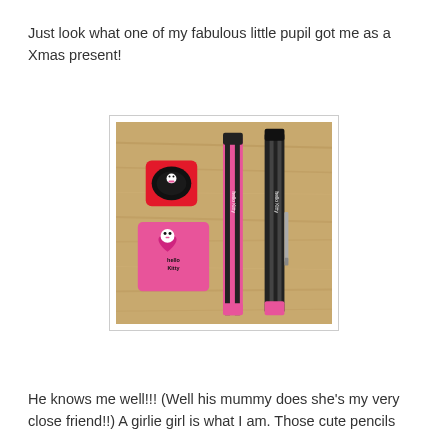Just look what one of my fabulous little pupil got me as a Xmas present!
[Figure (photo): Photo of Hello Kitty stationery items on a wooden surface: a red sharpener, a pink Hello Kitty eraser box, and two Hello Kitty pencils (one pink/black patterned, one black).]
He knows me well!!! (Well his mummy does she's my very close friend!!) A girlie girl is what I am. Those cute pencils